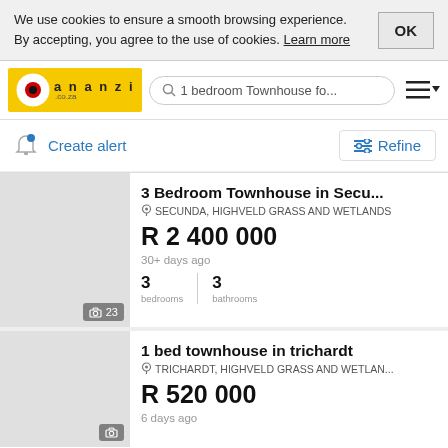We use cookies to ensure a smooth browsing experience. By accepting, you agree to the use of cookies. Learn more
[Figure (logo): Ananzi.co.za logo with yellow background and red/black target icon]
1 bedroom Townhouse fo...
Create alert
Refine
3 Bedroom Townhouse in Secu...
SECUNDA, HIGHVELD GRASS AND WETLANDS
R 2 400 000
30+ days ago
3 bedrooms
3 bathrooms
1 bed townhouse in trichardt
TRICHARDT, HIGHVELD GRASS AND WETLAN...
R 520 000
6 days ago